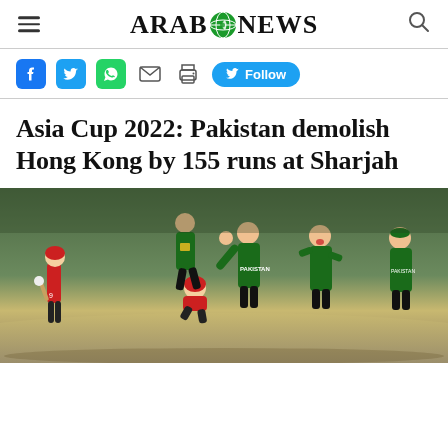ARAB NEWS
Social share bar: Facebook, Twitter, WhatsApp, Email, Print, Follow on Twitter
Asia Cup 2022: Pakistan demolish Hong Kong by 155 runs at Sharjah
[Figure (photo): Cricket players on field — Pakistan players in green celebrating, Hong Kong players in red. One Pakistan bowler with fist pump, another running behind, two more on right laughing. Hong Kong batsmen visible on left and one crouching in center.]